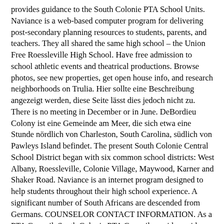provides guidance to the South Colonie PTA School Units. Naviance is a web-based computer program for delivering post-secondary planning resources to students, parents, and teachers. They all shared the same high school – the Union Free Roessleville High School. Have free admission to school athletic events and theatrical productions. Browse photos, see new properties, get open house info, and research neighborhoods on Trulia. Hier sollte eine Beschreibung angezeigt werden, diese Seite lässt dies jedoch nicht zu. There is no meeting in December or in June. DeBordieu Colony ist eine Gemeinde am Meer, die sich etwa eine Stunde nördlich von Charleston, South Carolina, südlich von Pawleys Island befindet. The present South Colonie Central School District began with six common school districts: West Albany, Roessleville, Colonie Village, Maywood, Karner and Shaker Road. Naviance is an internet program designed to help students throughout their high school experience. A significant number of South Africans are descended from Germans. COUNSELOR CONTACT INFORMATION. As a PTA Council, South Colonie PTA Council provides guidance to the South Colonie PTA School Units. SOCIAL EMOTIONAL RESOURCES. More site notes. Beolingus Deutsch-Englisch OpenThesaurus ist ein freies deutsches Wörterbuch für Synonyme, bei dem jeder mitmachen kann. To obtain the Senior Courtesy Card, you must meet the following requirements: You must be 60 years of age. You will be required to show proof of age and address. It is a vital component